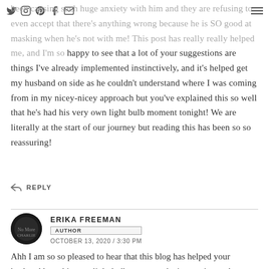[social icons] [hamburger menu]
been causing such huge anxiety with him and they are refusing to even accept that there's anything wrong because he is SO good at masking when he's not with me! This post has really really helped me, and I'm so happy to see that a lot of your suggestions are things I've already implemented instinctively, and it's helped get my husband on side as he couldn't understand where I was coming from in my nicey-nicey approach but you've explained this so well that he's had his very own light bulb moment tonight! We are literally at the start of our journey but reading this has been so so reassuring!
REPLY
ERIKA FREEMAN
AUTHOR
OCTOBER 13, 2020 / 3:30 PM
Ahh I am so so pleased to hear that this blog has helped your husband have his own light bulb moment, that's amazing and so pleased it's also been reassuring! Supporting/managing your child with PDA, as you know, can be extremely